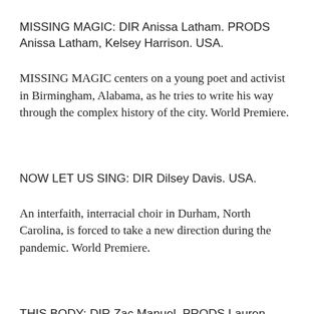MISSING MAGIC:  DIR Anissa Latham.  PRODS Anissa Latham, Kelsey Harrison.  USA.
MISSING MAGIC centers on a young poet and activist in Birmingham, Alabama, as he tries to write his way through the complex history of the city. World Premiere.
NOW LET US SING:  DIR Dilsey Davis.  USA.
An interfaith, interracial choir in Durham, North Carolina, is forced to take a new direction during the pandemic. World Premiere.
THIS BODY:  DIR Zac Manuel.  PRODS Lauren Cargo.  USA.